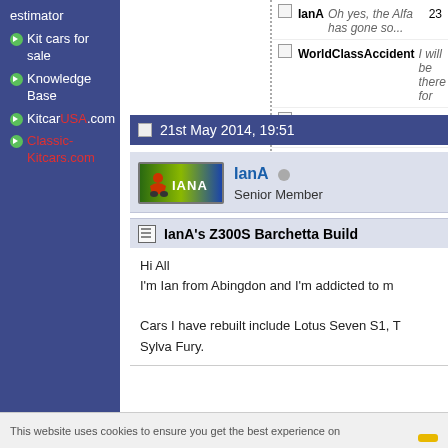estimator
Kit cars for sale
Knowledge Base
KitcarUSA.com
Classic-Kitcars.com
IanA Oh yes, the Alfa has gone so... 23
WorldClassAccident I will be there for
Tribute Automotive Welcome aboard
IanA Easy Washers Thought I'd... 3rd Ju
21st May 2014, 19:51
[Figure (other): User avatar image showing IANA logo with motorbike figure]
IanA
Senior Member
IanA's Z300S Barchetta Build
Hi All
I'm Ian from Abingdon and I'm addicted to m

Cars I have rebuilt include Lotus Seven S1, T
Sylva Fury.
This website uses cookies to ensure you get the best experience on